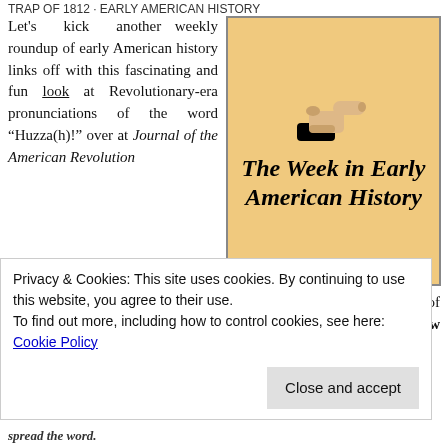TRAP OF 1812 · EARLY AMERICAN HISTORY
Let's kick another weekly roundup of early American history links off with this fascinating and fun look at Revolutionary-era pronunciations of the word "Huzza(h)!" over at Journal of the American Revolution (hint: it rhymes with "fray"). Continuing with the general theme of historical language and pronunciation, Sam Sack's New Yorker review of Ben Tarnoff's newly-released. The Bohemians
[Figure (illustration): Pointing hand icon above bold italic text reading 'The Week in Early American History' on a tan/golden background]
Privacy & Cookies: This site uses cookies. By continuing to use this website, you agree to their use. To find out more, including how to control cookies, see here: Cookie Policy
spread the word.